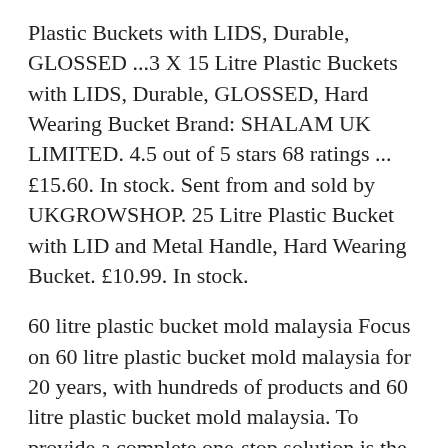Plastic Buckets with LIDS, Durable, GLOSSED ...3 X 15 Litre Plastic Buckets with LIDS, Durable, GLOSSED, Hard Wearing Bucket Brand: SHALAM UK LIMITED. 4.5 out of 5 stars 68 ratings ... £15.60. In stock. Sent from and sold by UKGROWSHOP. 25 Litre Plastic Bucket with LID and Metal Handle, Hard Wearing Bucket. £10.99. In stock.
60 litre plastic bucket mold malaysia Focus on 60 litre plastic bucket mold malaysia for 20 years, with hundreds of products and 60 litre plastic bucket mold malaysia. To provide a complete one-stop solution is the most correct with us. TEl : 0086 021-58595060
high quality 60 litre bucket mold manufacturer Focus on high quality 60 litre bucket mold manufacturer for 20 years, with hundreds of products and high quality 60 litre bucket mold manufacturer. To provide a complete one-